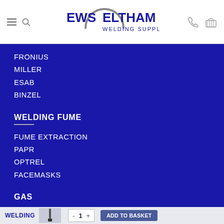EWS Eltham Welding Supplies — navigation header
FRONIUS
MILLER
ESAB
BINZEL
WELDING FUME
FUME EXTRACTION
PAPR
OPTREL
FACEMASKS
GAS
WELDING  — product image — - 1 + — ADD TO BASKET